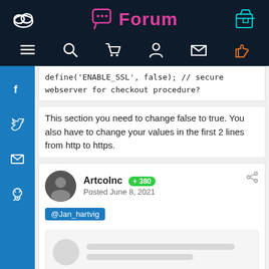Forum
define('ENABLE_SSL', false); // secure webserver for checkout procedure?
This section you need to change false to true. You also have to change your values in the first 2 lines from http to https.
ArtcoInc +380 Posted June 8, 2021
@Jan_hartvig